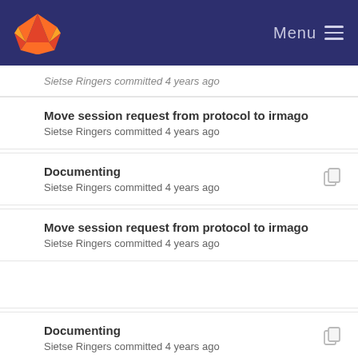GitLab Menu
Sietse Ringers committed 4 years ago
Move session request from protocol to irmago
Sietse Ringers committed 4 years ago
Documenting
Sietse Ringers committed 4 years ago
Move session request from protocol to irmago
Sietse Ringers committed 4 years ago
Documenting
Sietse Ringers committed 4 years ago
Move session request from protocol to irmago
Sietse Ringers committed 4 years ago